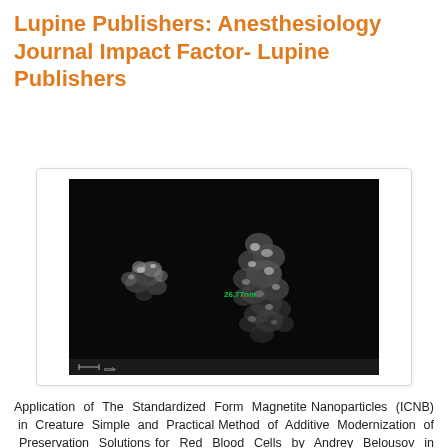Lupine Publishers: Anesthesiology Journal Impact Factor- Lupine Publishers
[Figure (photo): Electron microscopy image of magnetite nanoparticles (ICNB) clusters on dark background with scale annotation showing 26.77nm]
Application of The Standardized Form Magnetite Nanoparticles (ICNB) in Creature Simple and Practical Method of Additive Modernization of Preservation Solutions for Red Blood Cells by Andrey Belousov in Global Journal of Anesthesia & Pain Medicine in Lupine Publishers